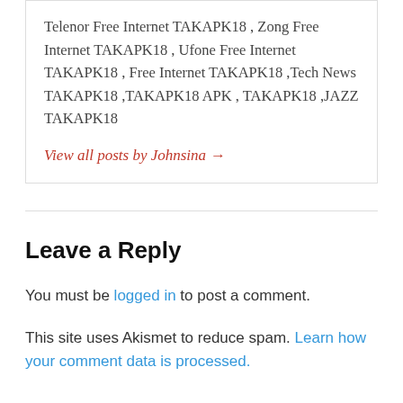Telenor Free Internet TAKAPK18 , Zong Free Internet TAKAPK18 , Ufone Free Internet TAKAPK18 , Free Internet TAKAPK18 ,Tech News TAKAPK18 ,TAKAPK18 APK , TAKAPK18 ,JAZZ TAKAPK18
View all posts by Johnsina →
Leave a Reply
You must be logged in to post a comment.
This site uses Akismet to reduce spam. Learn how your comment data is processed.